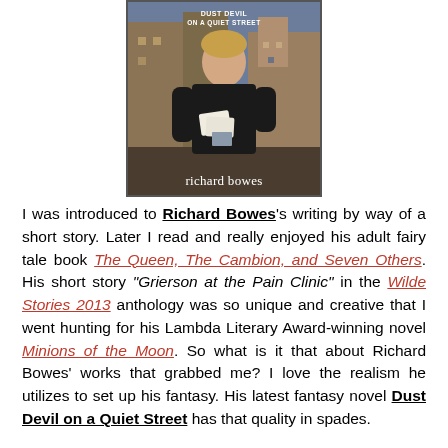[Figure (illustration): Book cover of 'Dust Devil on a Quiet Street' by Richard Bowes, showing a young man in a black jacket against a painted urban background with buildings. The title appears partially at the top and the author's name 'richard bowes' appears at the bottom in white serif text.]
I was introduced to Richard Bowes's writing by way of a short story. Later I read and really enjoyed his adult fairy tale book The Queen, The Cambion, and Seven Others. His short story "Grierson at the Pain Clinic" in the Wilde Stories 2013 anthology was so unique and creative that I went hunting for his Lambda Literary Award-winning novel Minions of the Moon. So what is it that about Richard Bowes' works that grabbed me? I love the realism he utilizes to set up his fantasy. His latest fantasy novel Dust Devil on a Quiet Street has that quality in spades.